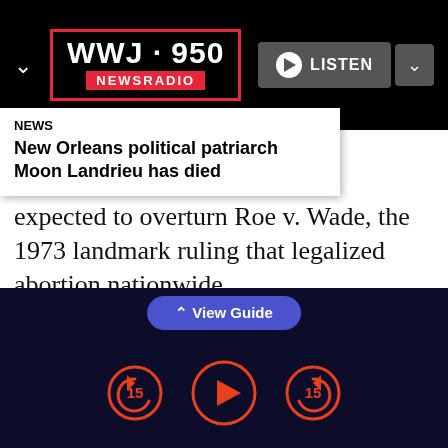[Figure (logo): WWJ 950 Newsradio logo in red border box with white text on black background]
NEWS
New Orleans political patriarch Moon Landrieu has died
expected to overturn Roe v. Wade, the 1973 landmark ruling that legalized abortion nationwide.
“You can’t have an unqualified person in there. But if there’s a qualified woman, I think you really have to look at that and say, ‘We need more of a
[Figure (screenshot): Radio app player controls: rewind 15, play button, forward 15 in orange circles. View Guide tab above.]